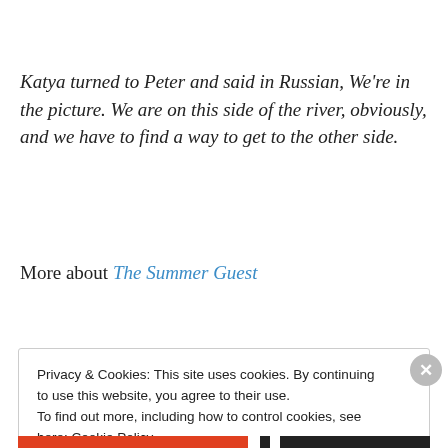Katya turned to Peter and said in Russian, We're in the picture. We are on this side of the river, obviously, and we have to find a way to get to the other side.
More about The Summer Guest
Privacy & Cookies: This site uses cookies. By continuing to use this website, you agree to their use.
To find out more, including how to control cookies, see here: Cookie Policy